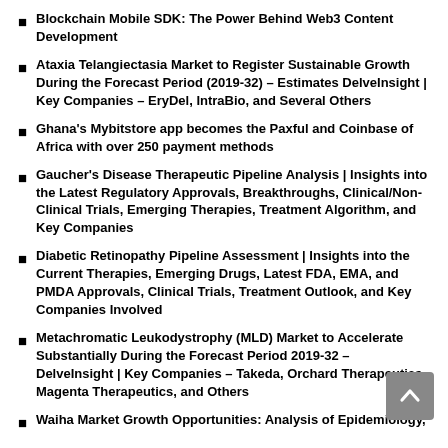Blockchain Mobile SDK: The Power Behind Web3 Content Development
Ataxia Telangiectasia Market to Register Sustainable Growth During the Forecast Period (2019-32) – Estimates DelveInsight | Key Companies – EryDel, IntraBio, and Several Others
Ghana's Mybitstore app becomes the Paxful and Coinbase of Africa with over 250 payment methods
Gaucher's Disease Therapeutic Pipeline Analysis | Insights into the Latest Regulatory Approvals, Breakthroughs, Clinical/Non-Clinical Trials, Emerging Therapies, Treatment Algorithm, and Key Companies
Diabetic Retinopathy Pipeline Assessment | Insights into the Current Therapies, Emerging Drugs, Latest FDA, EMA, and PMDA Approvals, Clinical Trials, Treatment Outlook, and Key Companies Involved
Metachromatic Leukodystrophy (MLD) Market to Accelerate Substantially During the Forecast Period 2019-32 – DelveInsight | Key Companies – Takeda, Orchard Therapeutics, Magenta Therapeutics, and Others
Waiha Market Growth Opportunities: Analysis of Epidemiology,